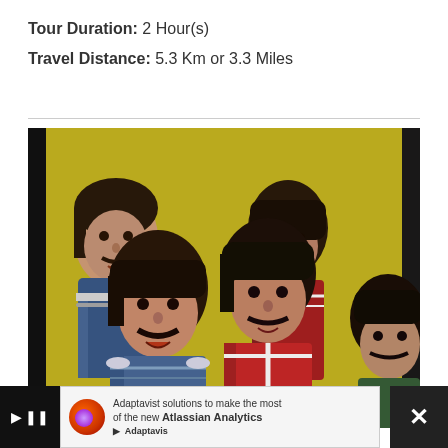Tour Duration: 2 Hour(s)
Travel Distance: 5.3 Km or 3.3 Miles
[Figure (photo): Mosaic or illustrated artwork depicting The Beatles (Sgt. Pepper era), showing four figures in colorful military-style costumes against a yellow background. The figures have distinctive mop-top hairstyles and mustaches.]
Beatles Tour in Liverpool, Part II
[Figure (other): Advertisement banner: Adaptavist solutions to make the most of the new Atlassian Analytics, with Adaptavist logo and close/play controls.]